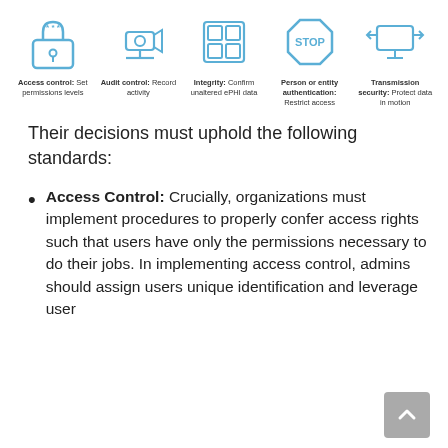[Figure (infographic): Five blue line icons representing technical safeguards: Access control (padlock with asterisks), Audit control (security camera), Integrity (grid of squares), Person or entity authentication (stop sign), Transmission security (computer with arrows). Each icon has a label and short description below it.]
Their decisions must uphold the following standards:
Access Control: Crucially, organizations must implement procedures to properly confer access rights such that users have only the permissions necessary to do their jobs. In implementing access control, admins should assign users unique identification and leverage user